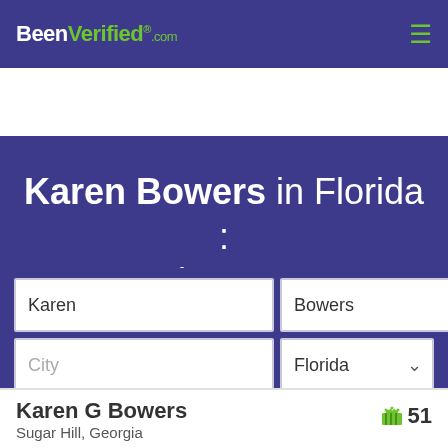BeenVerified.com
Karen Bowers in Florida : Directory
Karen | Bowers | City | Florida
SEARCH
Karen G Bowers  51
Sugar Hill, Georgia